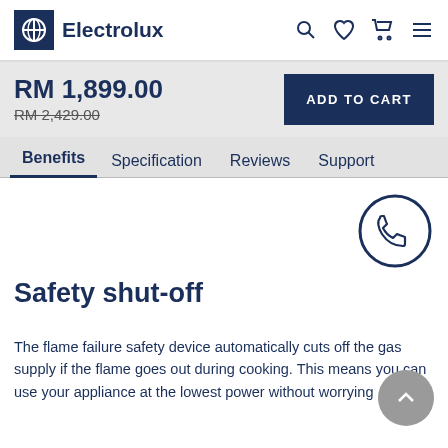Electrolux
RM 1,899.00
RM 2,429.00
ADD TO CART
Benefits  Specification  Reviews  Support
[Figure (illustration): Phone/contact icon inside a circle]
Safety shut-off
The flame failure safety device automatically cuts off the gas supply if the flame goes out during cooking. This means you can use your appliance at the lowest power without worrying